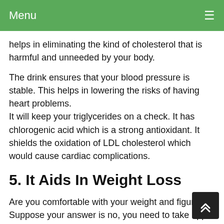Menu
helps in eliminating the kind of cholesterol that is harmful and unneeded by your body.
The drink ensures that your blood pressure is stable. This helps in lowering the risks of having heart problems.
It will keep your triglycerides on a check. It has chlorogenic acid which is a strong antioxidant. It shields the oxidation of LDL cholesterol which would cause cardiac complications.
5. It Aids In Weight Loss
Are you comfortable with your weight and figure? Suppose your answer is no, you need to take apple cedar vinegar daily.